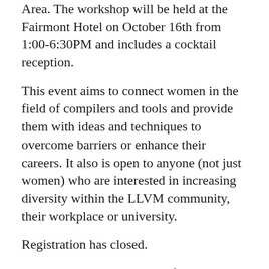Area. The workshop will be held at the Fairmont Hotel on October 16th from 1:00-6:30PM and includes a cocktail reception.
This event aims to connect women in the field of compilers and tools and provide them with ideas and techniques to overcome barriers or enhance their careers. It also is open to anyone (not just women) who are interested in increasing diversity within the LLVM community, their workplace or university.
Registration has closed.
The workshop will consist of 3 topics described below:
Inner Critic: How to Deal with Your Imposter